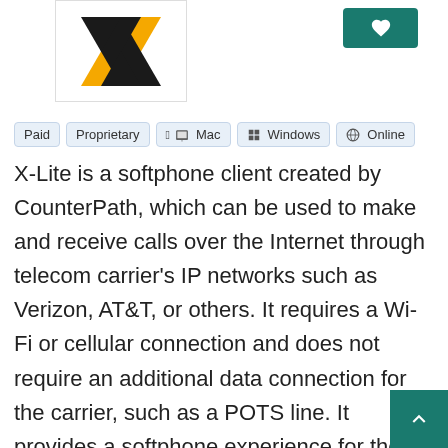[Figure (logo): X-Lite logo: black and yellow X shape on white background]
Paid
Proprietary
Mac
Windows
Online
X-Lite is a softphone client created by CounterPath, which can be used to make and receive calls over the Internet through telecom carrier's IP networks such as Verizon, AT&T, or others. It requires a Wi-Fi or cellular connection and does not require an additional data connection for the carrier, such as a POTS line. It provides a softphone experience for the desktop or laptop computer. That means that